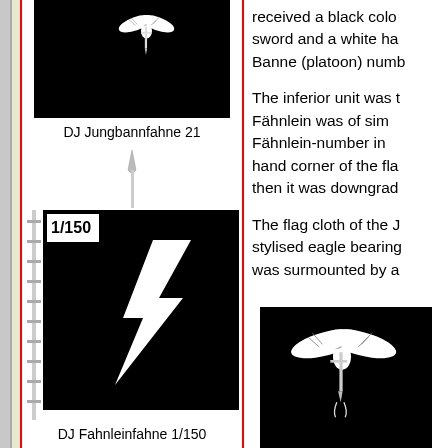[Figure (illustration): DJ Jungbannfahne 21 - black flag with white eagle and sword insignia on a pole]
DJ Jungbannfahne 21
received a black color sword and a white ha Banne (platoon) numb
The inferior unit was t Fähnlein was of sim Fähnlein-number in hand corner of the fla then it was downgrad
The flag cloth of the J stylised eagle bearing was surmounted by a
[Figure (illustration): DJ Fahnleinfahne 1/150 - black flag with white lightning bolt/rune symbol, numbered 1/150, on a pole with spear tip]
DJ Fahnleinfahne 1/150
[Figure (illustration): DJ Jungbannfahne - black flag with white eagle insignia]
DJ Jungba
The League of G